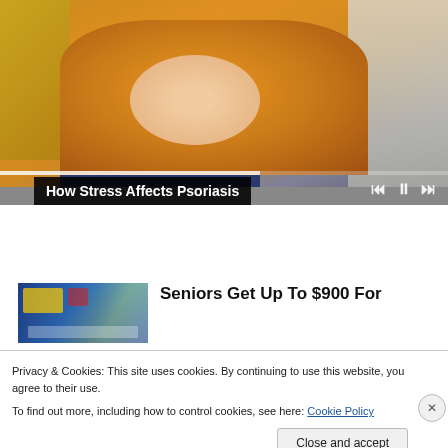[Figure (screenshot): Video player showing a person in a yellow sweater scratching their wrist, with playback controls and progress bar visible. Playing: How Stress Affects Psoriasis.]
How Stress Affects Psoriasis
[Figure (photo): Advertisement thumbnail showing a store interior (appears to be Walmart) with shoppers.]
Seniors Get Up To $900 For
Privacy & Cookies: This site uses cookies. By continuing to use this website, you agree to their use.
To find out more, including how to control cookies, see here: Cookie Policy
Close and accept